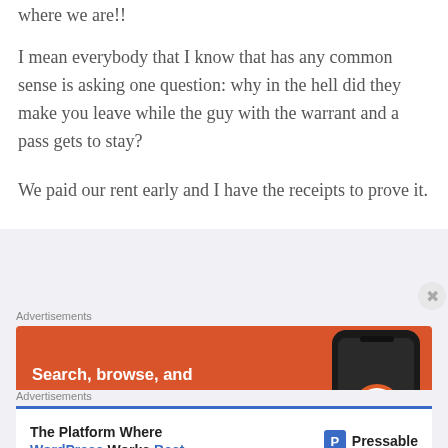where we are!!
I mean everybody that I know that has any common sense is asking one question: why in the hell did they make you leave while the guy with the warrant and a pass gets to stay?
We paid our rent early and I have the receipts to prove it.
Advertisements
[Figure (other): DuckDuckGo advertisement banner: orange background with text 'Search, browse, and email with more privacy. All in One Free App' and a phone image showing DuckDuckGo app]
Advertisements
[Figure (other): Pressable advertisement: 'The Platform Where WordPress Works Best' with Pressable logo]